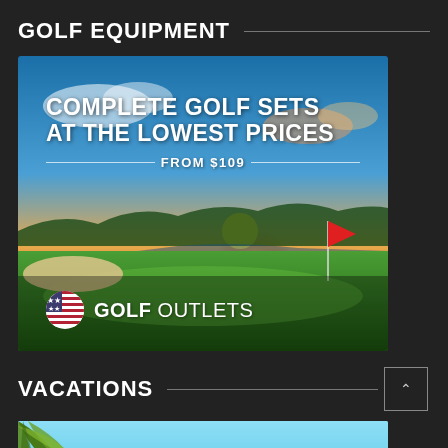GOLF EQUIPMENT
[Figure (photo): Golf Outlets advertisement banner showing a scenic golf course at sunset with the text 'COMPLETE GOLF SETS AT THE LOWEST PRICES FROM $109' and the Golf Outlets logo with an American flag golf ball icon.]
VACATIONS
[Figure (photo): Vacations advertisement banner partially visible showing tropical palm fronds on a light blue background with text 'Experience the World with']